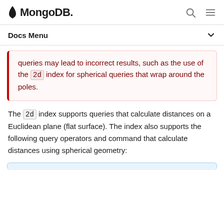MongoDB
Docs Menu
queries may lead to incorrect results, such as the use of the 2d index for spherical queries that wrap around the poles.
The 2d index supports queries that calculate distances on a Euclidean plane (flat surface). The index also supports the following query operators and command that calculate distances using spherical geometry: